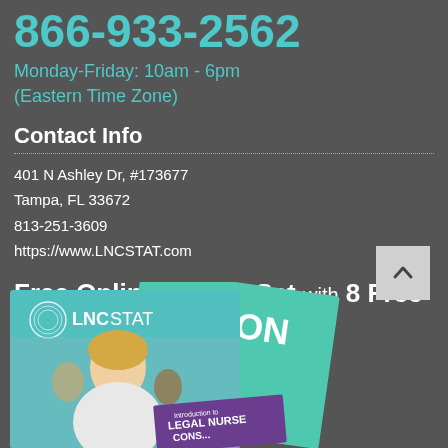866-933-2562
Monday-Friday: 10am - 6pm
(Eastern Time Zone)
Contact Info
401 N Ashley Dr, #173677
Tampa, FL 33672
813-251-3609
https://www.LNCSTAT.com
Free Online Starter Set with 8 Free CEUs
[Figure (photo): Photo of LNCSTAT branded materials including magazines and a book titled 'Introduction to Legal Nurse Consulting', featuring professional women]